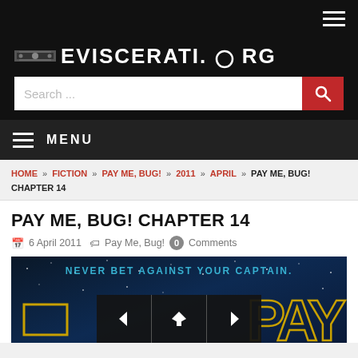EVISCERATI.ORG
MENU
HOME » FICTION » PAY ME, BUG! » 2011 » APRIL » PAY ME, BUG! CHAPTER 14
PAY ME, BUG! CHAPTER 14
6 April 2011   Pay Me, Bug!   0 Comments
[Figure (illustration): Book cover image for Pay Me, Bug! showing blue starfield background with text NEVER BET AGAINST YOUR CAPTAIN in teal, PAY letters in gold outline on right, navigation buttons (previous, home, next) overlaid at bottom center, and a gold rectangle outline at bottom left]